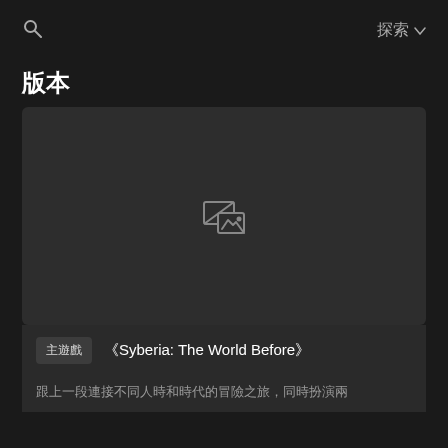🔍  探索 ∨
版本
[Figure (screenshot): Dark card with broken image placeholder icon in center]
主遊戲  《Syberia: The World Before》
跟上一段連接不同人時和時代的冒險之旅，同時扮演兩